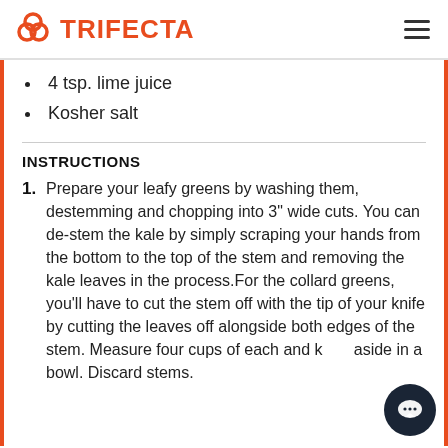TRIFECTA
4 tsp. lime juice
Kosher salt
INSTRUCTIONS
Prepare your leafy greens by washing them, destemming and chopping into 3" wide cuts. You can de-stem the kale by simply scraping your hands from the bottom to the top of the stem and removing the kale leaves in the process.For the collard greens, you'll have to cut the stem off with the tip of your knife by cutting the leaves off alongside both edges of the stem. Measure four cups of each and keep aside in a bowl. Discard stems.